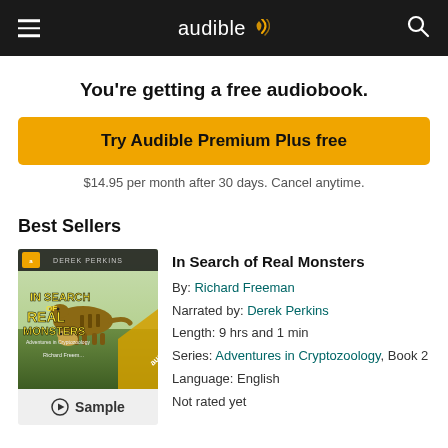audible
You're getting a free audiobook.
Try Audible Premium Plus free
$14.95 per month after 30 days. Cancel anytime.
Best Sellers
[Figure (illustration): Book cover for 'In Search of Real Monsters' - Adventures in Cryptozoology, featuring a thylacine-like animal and other creatures]
In Search of Real Monsters
By: Richard Freeman
Narrated by: Derek Perkins
Length: 9 hrs and 1 min
Series: Adventures in Cryptozoology, Book 2
Language: English
Not rated yet